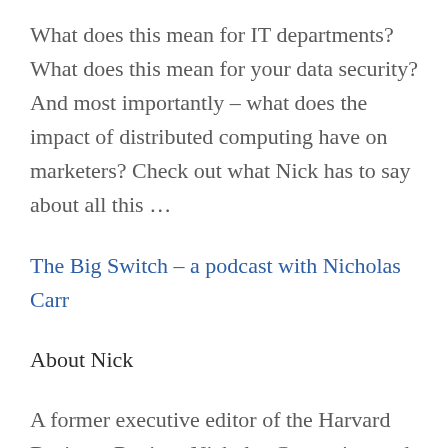What does this mean for IT departments? What does this mean for your data security? And most importantly – what does the impact of distributed computing have on marketers? Check out what Nick has to say about all this …
The Big Switch – a podcast with Nicholas Carr
About Nick
A former executive editor of the Harvard Business Review, Nicholas Carr writes and